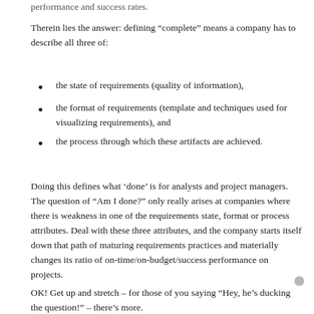performance and success rates.
Therein lies the answer: defining “complete” means a company has to describe all three of:
the state of requirements (quality of information),
the format of requirements (template and techniques used for visualizing requirements), and
the process through which these artifacts are achieved.
Doing this defines what ‘done’ is for analysts and project managers. The question of “Am I done?” only really arises at companies where there is weakness in one of the requirements state, format or process attributes. Deal with these three attributes, and the company starts itself down that path of maturing requirements practices and materially changes its ratio of on-time/on-budget/success performance on projects.
OK! Get up and stretch – for those of you saying “Hey, he’s ducking the question!” – there’s more.